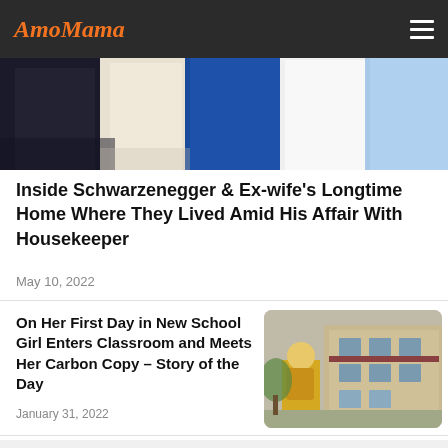AmoMama
[Figure (photo): People standing together, partial view showing torsos and arms]
Inside Schwarzenegger & Ex-wife's Longtime Home Where They Lived Amid His Affair With Housekeeper
May 10, 2022
On Her First Day in New School Girl Enters Classroom and Meets Her Carbon Copy – Story of the Day
January 31, 2022
[Figure (photo): Child with yellow backpack standing in front of a school building]
Lady Notices Two Unattended Children
[Figure (photo): Outdoor scene with trees]